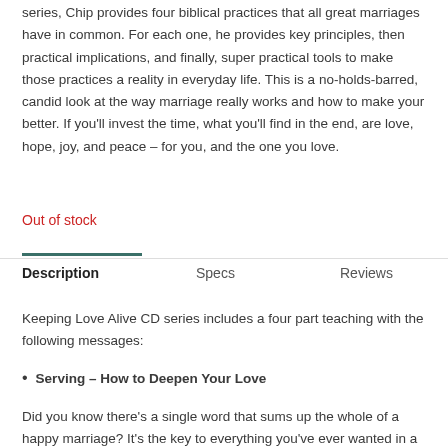series, Chip provides four biblical practices that all great marriages have in common. For each one, he provides key principles, then practical implications, and finally, super practical tools to make those practices a reality in everyday life. This is a no-holds-barred, candid look at the way marriage really works and how to make your better. If you'll invest the time, what you'll find in the end, are love, hope, joy, and peace – for you, and the one you love.
Out of stock
Description
Specs
Reviews
Keeping Love Alive CD series includes a four part teaching with the following messages:
Serving – How to Deepen Your Love
Did you know there's a single word that sums up the whole of a happy marriage? It's the key to everything you've ever wanted in a secure,